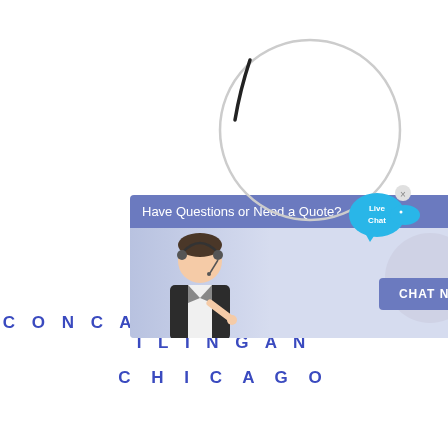[Figure (screenshot): A magnifying glass circle overlapping a live chat popup widget. The popup has a header 'Have Questions or Need a Quote?' with a close X button, and shows a customer service representative with a headset on the left side and a 'CHAT NOW' button on the right. A 'Live Chat' badge with a fish/chat bubble icon appears in the top right of the popup.]
CONCASSEUR PENGGILINGAN CHICAGO